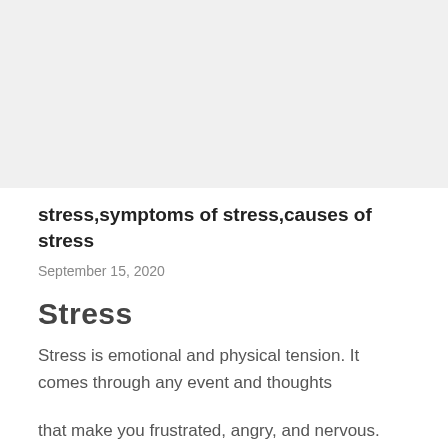[Figure (other): Gray banner image area at the top of the page]
stress,symptoms of stress,causes of stress
September 15, 2020
Stress
Stress is emotional and physical tension. It comes through any event and thoughts
that make you frustrated, angry, and nervous. Stress is the way of the body